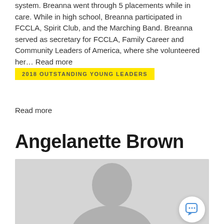system. Breanna went through 5 placements while in care. While in high school, Breanna participated in FCCLA, Spirit Club, and the Marching Band. Breanna served as secretary for FCCLA, Family Career and Community Leaders of America, where she volunteered her... Read more
2018 OUTSTANDING YOUNG LEADERS
Read more
Angelanette Brown
[Figure (photo): Placeholder profile photo showing a silhouette of a person's head and shoulders against a light gray background]